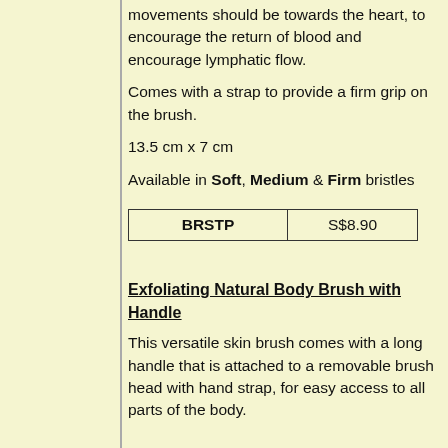movements should be towards the heart, to encourage the return of blood and encourage lymphatic flow.
Comes with a strap to provide a firm grip on the brush.
13.5 cm x 7 cm
Available in Soft, Medium & Firm bristles
| BRSTP | S$8.90 |
| --- | --- |
| BRSTP | S$8.90 |
Exfoliating Natural Body Brush with Handle
This versatile skin brush comes with a long handle that is attached to a removable brush head with hand strap, for easy access to all parts of the body.